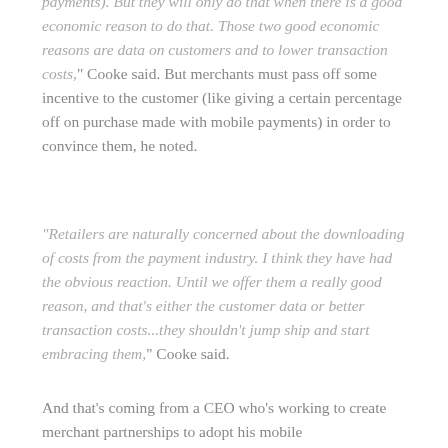payments). But they will only do that when there is a good economic reason to do that. Those two good economic reasons are data on customers and to lower transaction costs," Cooke said. But merchants must pass off some incentive to the customer (like giving a certain percentage off on purchase made with mobile payments) in order to convince them, he noted.
"Retailers are naturally concerned about the downloading of costs from the payment industry. I think they have had the obvious reaction. Until we offer them a really good reason, and that's either the customer data or better transaction costs...they shouldn't jump ship and start embracing them," Cooke said.
And that's coming from a CEO who's working to create merchant partnerships to adopt his mobile